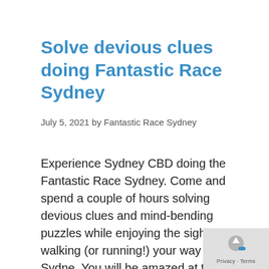Solve devious clues doing Fantastic Race Sydney
July 5, 2021 by Fantastic Race Sydney
Experience Sydney CBD doing the Fantastic Race Sydney. Come and spend a couple of hours solving devious clues and mind-bending puzzles while enjoying the sights walking (or running!) your way around Sydne. You will be amazed at the life, culture and activity bursting around you as you are immersed in this challenging and comple… addictive, ... Read more